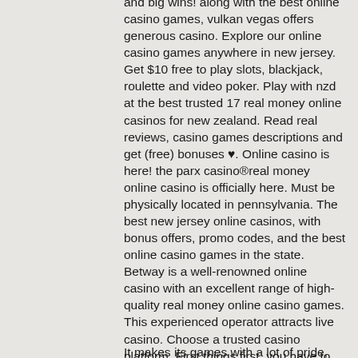and big wins! along with the best online casino games, vulkan vegas offers generous casino. Explore our online casino games anywhere in new jersey. Get $10 free to play slots, blackjack, roulette and video poker. Play with nzd at the best trusted 17 real money online casinos for new zealand. Read real reviews, casino games descriptions and get (free) bonuses ♥. Online casino is here! the parx casino®real money online casino is officially here. Must be physically located in pennsylvania. The best new jersey online casinos, with bonus offers, promo codes, and the best online casino games in the state. Betway is a well-renowned online casino with an excellent range of high-quality real money online casino games. This experienced operator attracts live casino. Choose a trusted casino platform. First things first, you have to do your own research about
It makes its games with a lot of pride, and